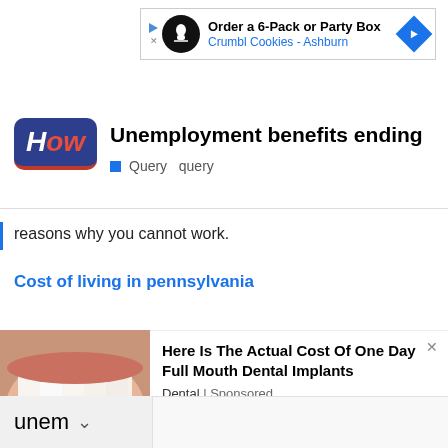[Figure (screenshot): Advertisement banner: 'Order a 6-Pack or Party Box / Crumbl Cookies - Ashburn' with play button, cookie icon, and blue navigation arrow]
Unemployment benefits ending
Query  query
reasons why you cannot work.
Cost of living in pennsylvania
[Figure (photo): Close-up photo of teeth/dental smile]
Here Is The Actual Cost Of One Day Full Mouth Dental Implants
Dental | Sponsored
unem